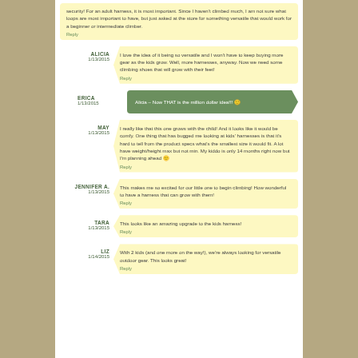security! For an adult harness, it is most important. Since I haven't climbed much, I am not sure what loops are most important to have, but just asked at the store for something versatile that would work for a beginner or intermediate climber.
Reply
ALICIA
1/13/2015
I love the idea of it being so versatile and I won't have to keep buying more gear as the kids grow. Well, more harnesses, anyway. Now we need some climbing shoes that will grow with their feet!
Reply
ERICA
1/13/2015
Alicia – Now THAT is the million dollar idea!!! 🙂
MAY
1/13/2015
I really like that this one grows with the child! And it looks like it would be comfy. One thing that has bugged me looking at kids' harnesses is that it's hard to tell from the product specs what's the smallest size it would fit. A lot have weight/height max but not min. My kiddo is only 14 months right now but I'm planning ahead 🙂
Reply
JENNIFER A.
1/13/2015
This makes me so excited for our little one to begin climbing! How wonderful to have a harness that can grow with them!
Reply
TARA
1/13/2015
This looks like an amazing upgrade to the kids harness!
Reply
LIZ
1/14/2015
With 2 kids (and one more on the way!), we're always looking for versatile outdoor gear. This looks great!
Reply